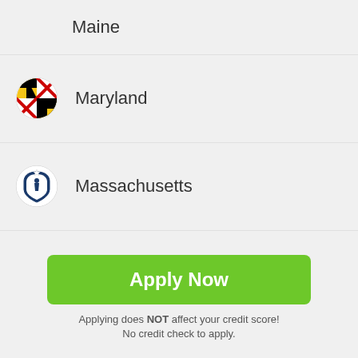Maine
Maryland
Massachusetts
Michigan
Minnesota
Mississippi
Apply Now
Applying does NOT affect your credit score! No credit check to apply.